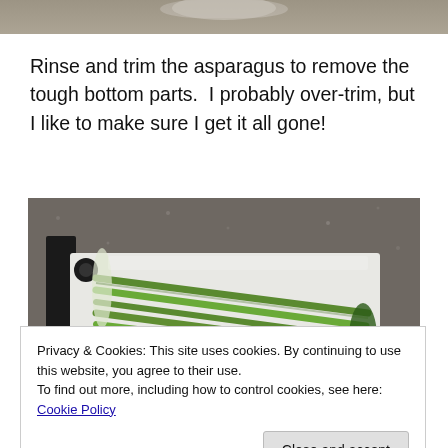[Figure (photo): Partial top photo, appears to show a container or kitchen item on a countertop, only bottom strip visible]
Rinse and trim the asparagus to remove the tough bottom parts.  I probably over-trim, but I like to make sure I get it all gone!
[Figure (photo): Trimmed asparagus stalks laid on a white cutting board on a dark granite countertop]
Privacy & Cookies: This site uses cookies. By continuing to use this website, you agree to their use.
To find out more, including how to control cookies, see here: Cookie Policy
The knife marks where I usually cut. You can see some